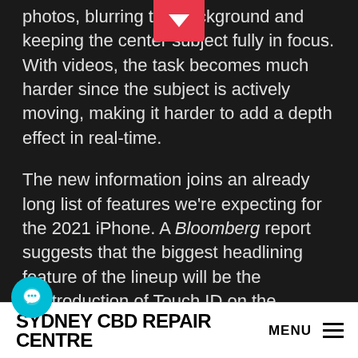photos, blurring the background and keeping the center subject fully in focus. With videos, the task becomes much harder since the subject is actively moving, making it harder to add a depth effect in real-time.
The new information joins an already long list of features we're expecting for the 2021 iPhone. A Bloomberg report suggests that the biggest headlining feature of the lineup will be the reintroduction of Touch ID on the iPhone. According to that report, Apple is testing burying the Touch ID sensor below the display, allowing users to unlock their device if Face ID is deemed unusable, such as when you're wearing a mask. Unlike the iPhone 12 which saw delays due to the COVID-19 pandemic, the iPhone 13 is expected to launch on time in
SYDNEY CBD REPAIR CENTRE  MENU ☰